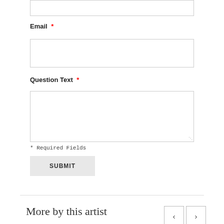[Figure (screenshot): Top portion of a form input box (truncated at top of page)]
Email *
[Figure (screenshot): Email input text field (empty)]
Question Text *
[Figure (screenshot): Question Text textarea field (empty, resizable)]
* Required Fields
SUBMIT
More by this artist